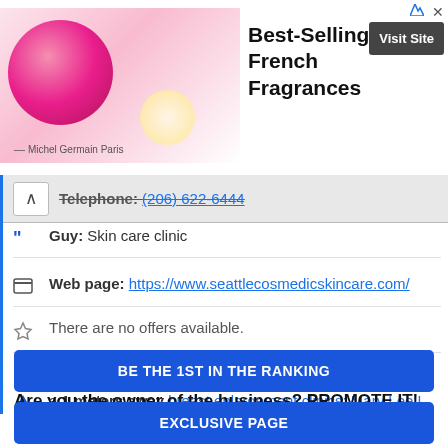[Figure (infographic): Advertisement banner for Best-Selling French Fragrances by Michel Germain Paris with pink perfume bottle image and Visit Site button]
Telephone: (206) 822-6444
Guy: Skin care clinic
Web page: https://www.seattlecosmedicskincare.com/
There are no offers available.
Near CosMedic Skincare - Jodie Reinertson, MD:
a 1 meters away breast enlargement clinics: Mary Lee L. Peters, M.D.
Are you the owner of the business? PROMOTE IT!
BE THE 1ST IN THE RANKING
EXCLUSIVE PAGE